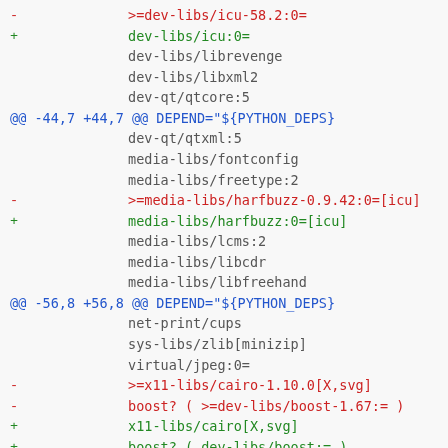diff hunk showing package dependency changes in ebuild format
-         >=dev-libs/icu-58.2:0=
+         dev-libs/icu:0=
dev-libs/librevenge
dev-libs/libxml2
dev-qt/qtcore:5
@@ -44,7 +44,7 @@ DEPEND="${PYTHON_DEPS}
dev-qt/qtxml:5
media-libs/fontconfig
media-libs/freetype:2
-         >=media-libs/harfbuzz-0.9.42:0=[icu]
+         media-libs/harfbuzz:0=[icu]
media-libs/lcms:2
media-libs/libcdr
media-libs/libfreehand
@@ -56,8 +56,8 @@ DEPEND="${PYTHON_DEPS}
net-print/cups
sys-libs/zlib[minizip]
virtual/jpeg:0=
-         >=x11-libs/cairo-1.10.0[X,svg]
-         boost? ( >=dev-libs/boost-1.67:= )
+         x11-libs/cairo[X,svg]
+         boost? ( dev-libs/boost:= )